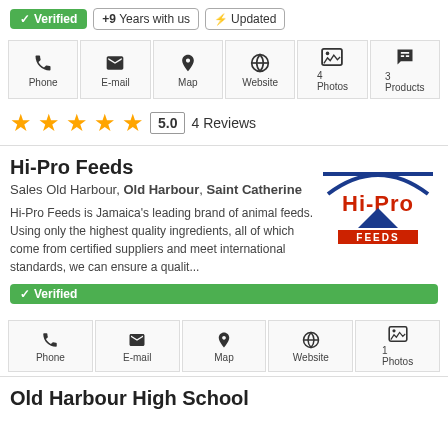✓ Verified | +9 Years with us | ⚡ Updated
Phone | E-mail | Map | Website | 4 Photos | 3 Products
★★★★★ 5.0 4 Reviews
Hi-Pro Feeds
Sales Old Harbour, Old Harbour, Saint Catherine
Hi-Pro Feeds is Jamaica's leading brand of animal feeds. Using only the highest quality ingredients, all of which come from certified suppliers and meet international standards, we can ensure a qualit...
[Figure (logo): Hi-Pro Feeds logo with blue lines and red text]
✓ Verified
Phone | E-mail | Map | Website | 1 Photos
Old Harbour High School